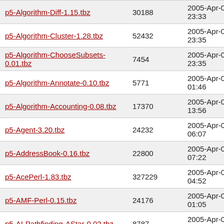| p5-Algorithm-Diff-1.15.tbz | 30188 | 2005-Apr-03 23:33 |
| p5-Algorithm-Cluster-1.28.tbz | 52432 | 2005-Apr-03 23:35 |
| p5-Algorithm-ChooseSubsets-0.01.tbz | 7454 | 2005-Apr-03 23:35 |
| p5-Algorithm-Annotate-0.10.tbz | 5771 | 2005-Apr-04 01:46 |
| p5-Algorithm-Accounting-0.08.tbz | 17370 | 2005-Apr-04 13:56 |
| p5-Agent-3.20.tbz | 24232 | 2005-Apr-04 06:07 |
| p5-AddressBook-0.16.tbz | 22800 | 2005-Apr-04 07:22 |
| p5-AcePerl-1.83.tbz | 327229 | 2005-Apr-04 04:52 |
| p5-AMF-Perl-0.15.tbz | 24176 | 2005-Apr-04 01:05 |
| p5-AI-Pathfinding-AStar-0.02.tbz | 8787 | 2005-Apr-04 01:53 |
| p5-AI-DecisionTree-0.08.tbz | 25357 | 2005-Apr-04 00:20 |